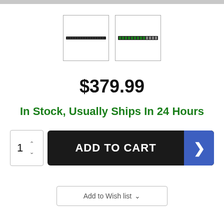[Figure (photo): Two product thumbnail images of a rack-mount networking device (switches/patch panels), shown side by side in bordered boxes.]
$379.99
In Stock, Usually Ships In 24 Hours
ADD TO CART
Add to Wish list